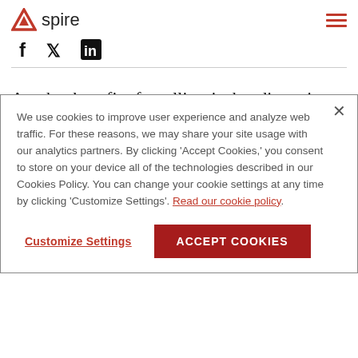Spire
[Figure (logo): Spire logo with red triangle and text 'spire']
[Figure (infographic): Social media icons: Facebook, Twitter, LinkedIn]
Another benefit of satellites is that disruptions on land natural disasters, conflict, or unforgiving landscapes
We use cookies to improve user experience and analyze web traffic. For these reasons, we may share your site usage with our analytics partners. By clicking 'Accept Cookies,' you consent to store on your device all of the technologies described in our Cookies Policy. You can change your cookie settings at any time by clicking 'Customize Settings'. Read our cookie policy
Customize Settings | ACCEPT COOKIES